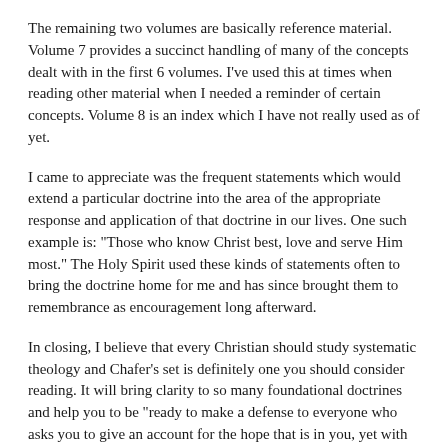The remaining two volumes are basically reference material. Volume 7 provides a succinct handling of many of the concepts dealt with in the first 6 volumes. I've used this at times when reading other material when I needed a reminder of certain concepts. Volume 8 is an index which I have not really used as of yet.
I came to appreciate was the frequent statements which would extend a particular doctrine into the area of the appropriate response and application of that doctrine in our lives. One such example is: "Those who know Christ best, love and serve Him most." The Holy Spirit used these kinds of statements often to bring the doctrine home for me and has since brought them to remembrance as encouragement long afterward.
In closing, I believe that every Christian should study systematic theology and Chafer's set is definitely one you should consider reading. It will bring clarity to so many foundational doctrines and help you to be "ready to make a defense to everyone who asks you to give an account for the hope that is in you, yet with gentleness and reverence." (1 Peter 3:15) It will also help you to "grow in the grace and knowledge of our Lord and Savior Jesus Christ. To Him be the glory, both now and to the day of eternity. Amen." (2 Peter 3:18)